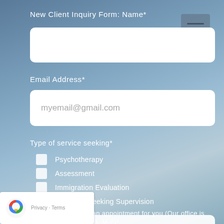New Client Inquiry Form: Name*
[Figure (other): Empty text input field for Name]
Email Address*
[Figure (other): Text input field with placeholder text myemail@gmail.com]
Type of service seeking*
Psychotherapy
Assessment
Immigration Evaluation
Therapist Seeking Supervision
Best day or time for an appointment for you (Our office is open for appointments 9-3, M-F)*
[Figure (other): Empty text input field for appointment preference]
[Figure (other): reCAPTCHA badge with Privacy and Terms links]